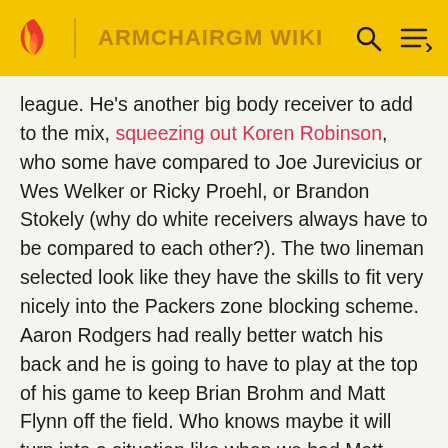ARMCHAIRGM WIKI
league. He's another big body receiver to add to the mix, squeezing out Koren Robinson, who some have compared to Joe Jurevicius or Wes Welker or Ricky Proehl, or Brandon Stokely (why do white receivers always have to be compared to each other?). The two lineman selected look like they have the skills to fit very nicely into the Packers zone blocking scheme. Aaron Rodgers had really better watch his back and he is going to have to play at the top of his game to keep Brian Brohm and Matt Flynn off the field. Who knows maybe it will turn into a situation like when we had Matt Hassellbeck, Mark Brunell, and Aaron Brooks all on the roster. We got a lot of good trades and draft picks out of those guys.
One of the more intriguing free agent rookies at camp